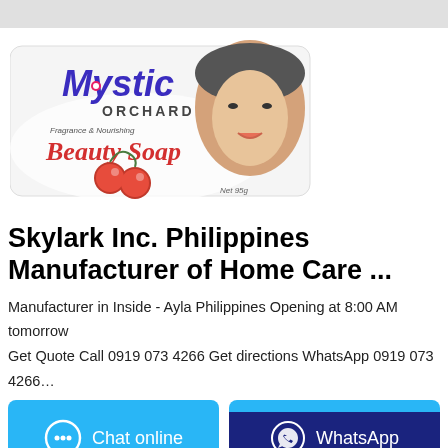[Figure (photo): Mystic Orchard Fragrance & Nourishing Beauty Soap product packaging showing the brand name 'Mystic Orchard', text 'Beauty Soap', a woman's face, and cherry fruits on a white background.]
Skylark Inc. Philippines Manufacturer of Home Care ...
Manufacturer in Inside - Ayla Philippines Opening at 8:00 AM tomorrow
Get Quote Call 0919 073 4266 Get directions WhatsApp 0919 073 4266…
Chat online
WhatsApp